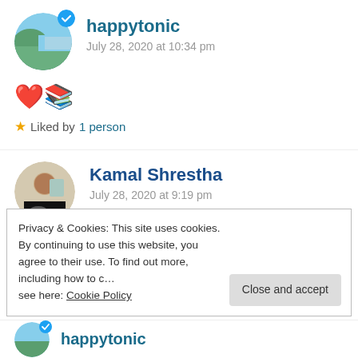happytonic
July 28, 2020 at 10:34 pm
❤️📚
Liked by 1 person
Kamal Shrestha
July 28, 2020 at 9:19 pm
Privacy & Cookies: This site uses cookies. By continuing to use this website, you agree to their use. To find out more, including how to control cookies, see here: Cookie Policy
happytonic